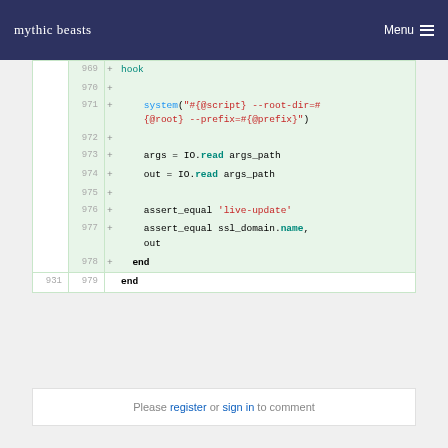mythic beasts  Menu
[Figure (screenshot): Code diff view showing Ruby lines 969-979 with green additions including system call, args/out IO.read, assert_equal statements, and end keywords]
Please register or sign in to comment